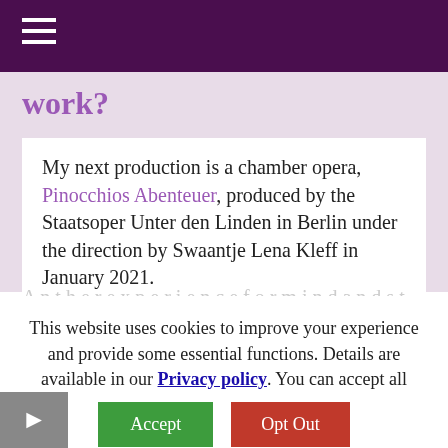☰
work?
My next production is a chamber opera, Pinocchios Abenteuer, produced by the Staatsoper Unter den Linden in Berlin under the direction by Swaantje Lena Kleff in January 2021.
This website uses cookies to improve your experience and provide some essential functions. Details are available in our Privacy policy. You can accept all cookies (which will help us understand how visitors interact with our website) or opt out of non–necessary cookies.
Accept
Opt Out